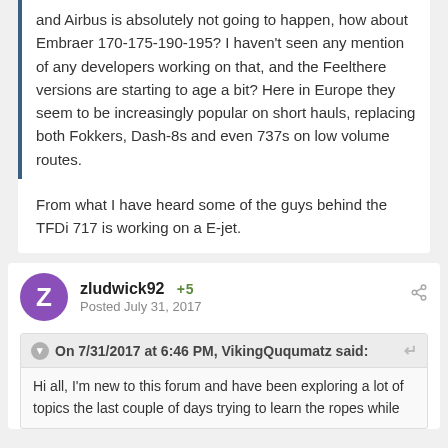and Airbus is absolutely not going to happen, how about Embraer 170-175-190-195? I haven't seen any mention of any developers working on that, and the Feelthere versions are starting to age a bit? Here in Europe they seem to be increasingly popular on short hauls, replacing both Fokkers, Dash-8s and even 737s on low volume routes.
From what I have heard some of the guys behind the TFDi 717 is working on a E-jet.
zludwick92  +5
Posted July 31, 2017
On 7/31/2017 at 6:46 PM, VikingQuqumatz said:
Hi all, I'm new to this forum and have been exploring a lot of topics the last couple of days trying to learn the ropes while